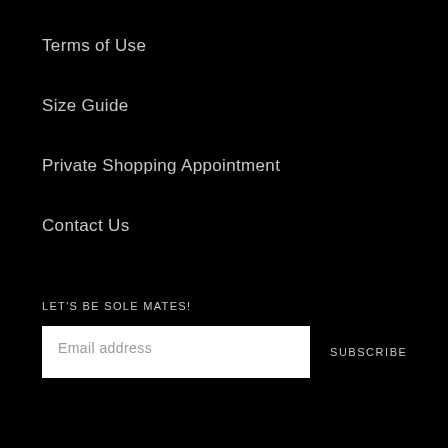Terms of Use
Size Guide
Private Shopping Appointment
Contact Us
LET'S BE SOLE MATES!
Email address
SUBSCRIBE